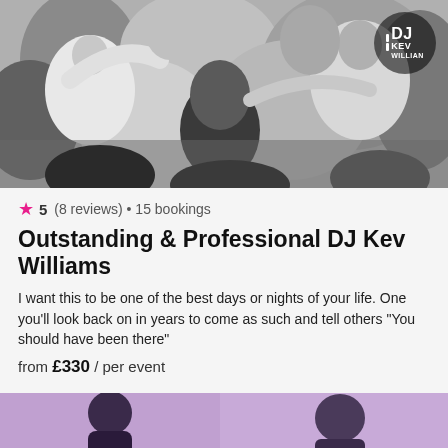[Figure (photo): Black and white photo of people dancing at an event, with a DJ Kev Williams circular logo badge in the top right corner]
★ 5 (8 reviews) • 15 bookings
Outstanding & Professional DJ Kev Williams
I want this to be one of the best days or nights of your life. One you'll look back on in years to come as such and tell others "You should have been there"
from £330 / per event
[Figure (photo): Partial view of another listing photo showing a person/DJ with purple background]